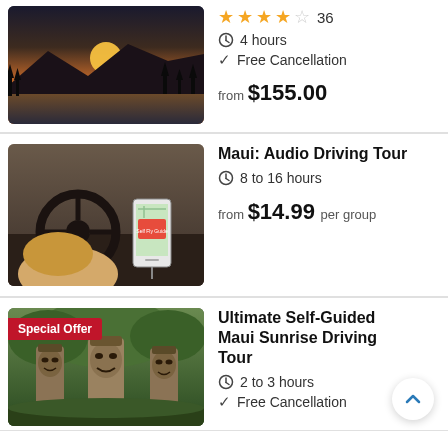[Figure (photo): Sunset over mountains and water, silhouetted trees in foreground]
★★★★☆ 36
4 hours
Free Cancellation
from $155.00
[Figure (photo): Person driving a car, holding steering wheel, phone with map app mounted on dashboard]
Maui: Audio Driving Tour
8 to 16 hours
from $14.99 per group
[Figure (photo): Tiki statues among green trees, with Special Offer badge]
Ultimate Self-Guided Maui Sunrise Driving Tour
2 to 3 hours
Free Cancellation